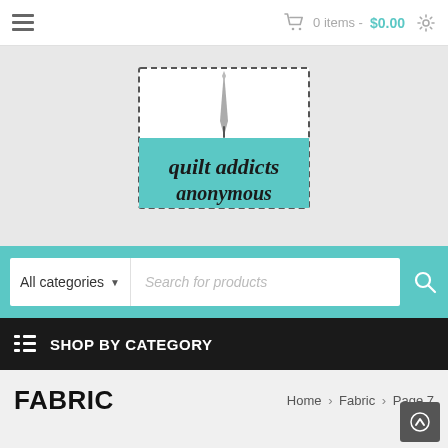0 items - $0.00
[Figure (logo): Quilt Addicts Anonymous logo with needle and teal background, dashed border]
All categories  Search for products
SHOP BY CATEGORY
FABRIC
Home › Fabric › Page 7